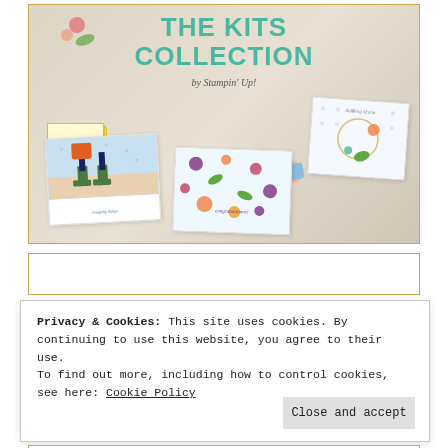[Figure (photo): Product image for 'THE KITS COLLECTION by Stampin' Up!' showing handmade greeting cards with floral designs, watercolor illustrations, and craft supplies arranged on a wooden surface.]
Privacy & Cookies: This site uses cookies. By continuing to use this website, you agree to their use.
To find out more, including how to control cookies, see here: Cookie Policy
Close and accept